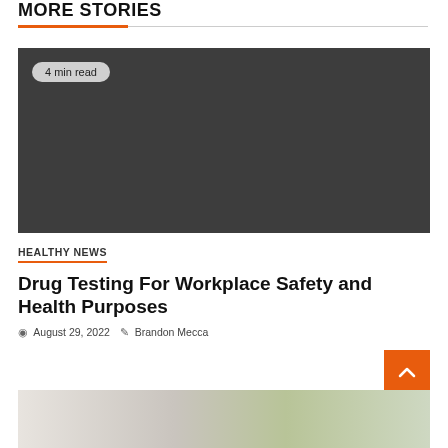MORE STORIES
[Figure (photo): Dark gray placeholder image with '4 min read' badge in top-left corner]
HEALTHY NEWS
Drug Testing For Workplace Safety and Health Purposes
August 29, 2022   Brandon Mecca
[Figure (photo): Partial photo showing a person, partially cut off at bottom of page]